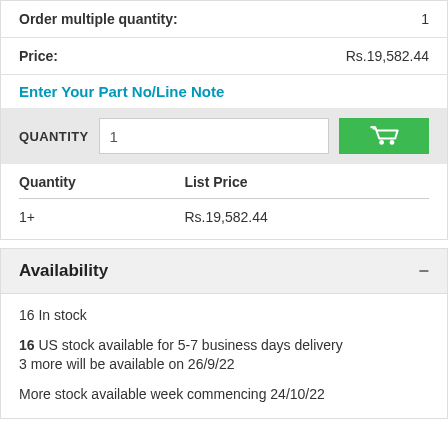Order multiple quantity: 1
Price: Rs.19,582.44
Enter Your Part No/Line Note
QUANTITY  1  [cart button]
| Quantity | List Price |
| --- | --- |
| 1+ | Rs.19,582.44 |
Availability
16 In stock
16 US stock available for 5-7 business days delivery
3 more will be available on 26/9/22
More stock available week commencing 24/10/22